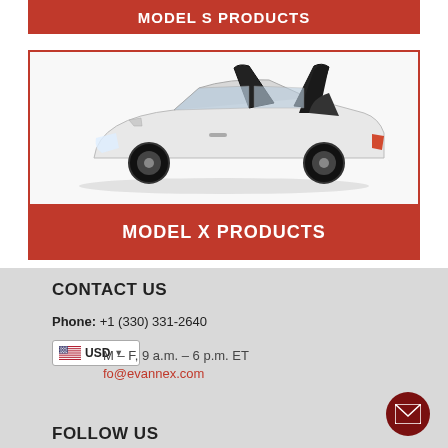MODEL S PRODUCTS
[Figure (photo): Tesla Model X with falcon wing doors open, white SUV on white background]
MODEL X PRODUCTS
CONTACT US
Phone: +1 (330) 331-2640
M – F, 9 a.m. – 6 p.m. ET
fo@evannex.com
FOLLOW US